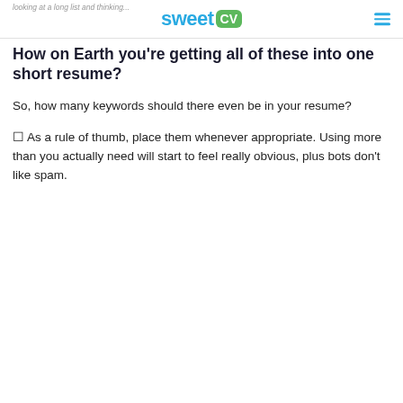sweet CV
looking at a long list and thinking...
How on Earth you're getting all of these into one short resume?
So, how many keywords should there even be in your resume?
☐ As a rule of thumb, place them whenever appropriate. Using more than you actually need will start to feel really obvious, plus bots don't like spam.